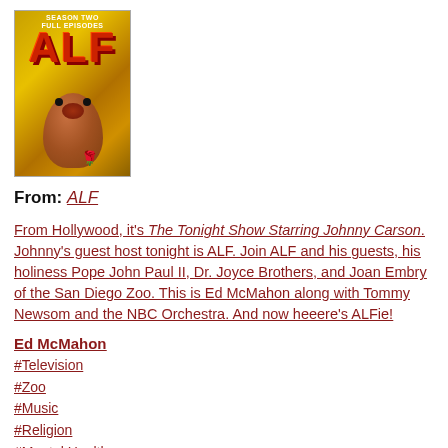[Figure (photo): ALF Season Two DVD cover with orange alien creature holding a rose against yellow/golden background with ALF logo in red]
From: ALF
From Hollywood, it's The Tonight Show Starring Johnny Carson. Johnny's guest host tonight is ALF. Join ALF and his guests, his holiness Pope John Paul II, Dr. Joyce Brothers, and Joan Embry of the San Diego Zoo. This is Ed McMahon along with Tommy Newsom and the NBC Orchestra. And now heeere's ALFie!
Ed McMahon
#Television
#Zoo
#Music
#Religion
#Mental Health
Jun
24
2009